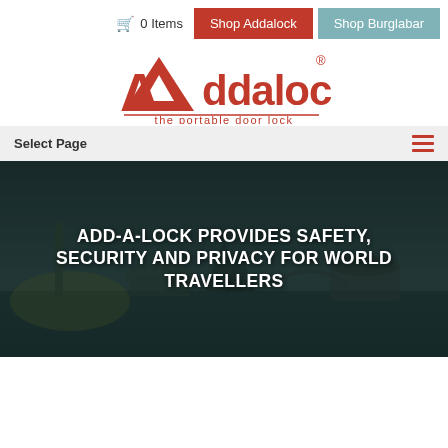🛒 0 Items  Shop Addalock  Shop Burglabar
[Figure (logo): Addalock logo — red triangle A with 'ddalock' text and registered trademark symbol, subtitle 'the portable door lock']
Select Page
ADD-A-LOCK PROVIDES SAFETY, SECURITY AND PRIVACY FOR WORLD TRAVELLERS